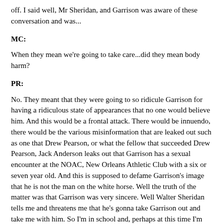off. I said well, Mr Sheridan, and Garrison was aware of these conversation and was...
MC:
When they mean we're going to take care...did they mean body harm?
PR:
No. They meant that they were going to so ridicule Garrison for having a ridiculous state of appearances that no one would believe him. And this would be a frontal attack. There would be innuendo, there would be the various misinformation that are leaked out such as one that Drew Pearson, or what the fellow that succeeded Drew Pearson, Jack Anderson leaks out that Garrison has a sexual encounter at the NOAC, New Orleans Athletic Club with a six or seven year old. And this is supposed to defame Garrison's image that he is not the man on the white horse. Well the truth of the matter was that Garrison was very sincere. Well Walter Sheridan tells me and threatens me that he's gonna take Garrison out and take me with him. So I'm in school and, perhaps at this time I'm not, because I think I had withdrawn, but I have no resources to fight any kind of this kind of an attack so therefore I should crumble. Well Garrison is told of this, he's aware of it. He knows...